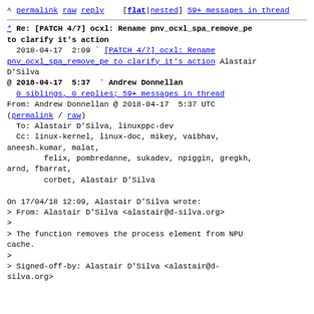^ permalink raw reply [flat|nested] 59+ messages in thread
* Re: [PATCH 4/7] ocxl: Rename pnv_ocxl_spa_remove_pe to clarify it's action
2018-04-17 2:09 ` [PATCH 4/7] ocxl: Rename pnv_ocxl_spa_remove_pe to clarify it's action Alastair D'Silva
@ 2018-04-17 5:37 ` Andrew Donnellan
 0 siblings, 0 replies; 59+ messages in thread
From: Andrew Donnellan @ 2018-04-17 5:37 UTC (permalink / raw)
 To: Alastair D'Silva, linuxppc-dev
 Cc: linux-kernel, linux-doc, mikey, vaibhav, aneesh.kumar, malat,
        felix, pombredanne, sukadev, npiggin, gregkh, arnd, fbarrat,
        corbet, Alastair D'Silva

On 17/04/18 12:09, Alastair D'Silva wrote:
> From: Alastair D'Silva <alastair@d-silva.org>
>
> The function removes the process element from NPU cache.
>
> Signed-off-by: Alastair D'Silva <alastair@d-silva.org>